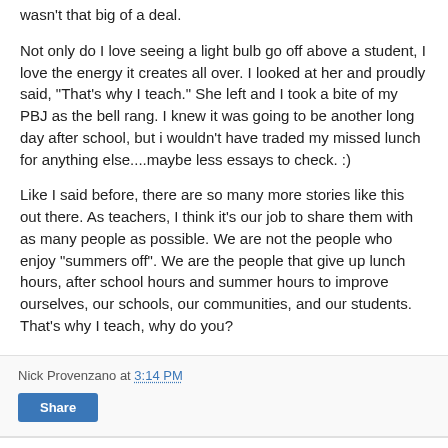wasn't that big of a deal.
Not only do I love seeing a light bulb go off above a student, I love the energy it creates all over. I looked at her and proudly said, "That's why I teach." She left and I took a bite of my PBJ as the bell rang. I knew it was going to be another long day after school, but i wouldn't have traded my missed lunch for anything else....maybe less essays to check. :)
Like I said before, there are so many more stories like this out there. As teachers, I think it's our job to share them with as many people as possible. We are not the people who enjoy "summers off". We are the people that give up lunch hours, after school hours and summer hours to improve ourselves, our schools, our communities, and our students. That's why I teach, why do you?
Nick Provenzano at 3:14 PM
Share